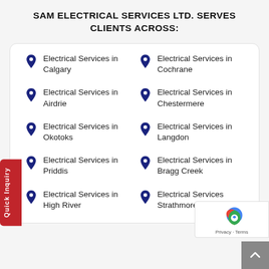SAM ELECTRICAL SERVICES LTD. SERVES CLIENTS ACROSS:
Electrical Services in Calgary
Electrical Services in Cochrane
Electrical Services in Airdrie
Electrical Services in Chestermere
Electrical Services in Okotoks
Electrical Services in Langdon
Electrical Services in Priddis
Electrical Services in Bragg Creek
Electrical Services in High River
Electrical Services Strathmore